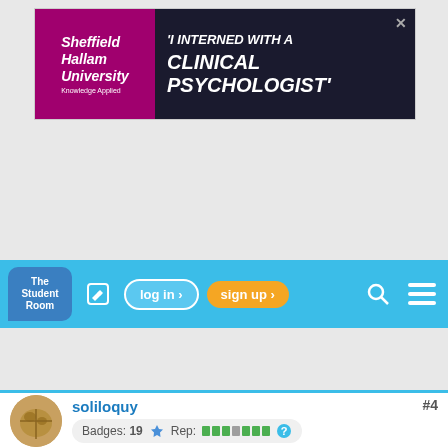[Figure (screenshot): Sheffield Hallam University advertisement banner: 'I INTERNED WITH A CLINICAL PSYCHOLOGIST']
[Figure (screenshot): The Student Room navigation bar with log in and sign up buttons]
[Figure (screenshot): Gray content/ad area with FEEDBACK tab on right side]
soliloquy
Badges: 19  Rep: #4